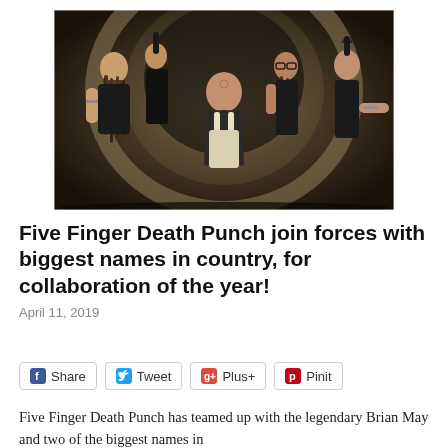[Figure (photo): Five members of Five Finger Death Punch posed in a dramatic dark tunnel/corridor setting. The members have tattoos and distinctive hair/styles. One member is crouched in the center front.]
Five Finger Death Punch join forces with biggest names in country, for collaboration of the year!
April 11, 2019
Share  Tweet  Plus+  Pinit
Five Finger Death Punch has teamed up with the legendary Brian May and two of the biggest names in